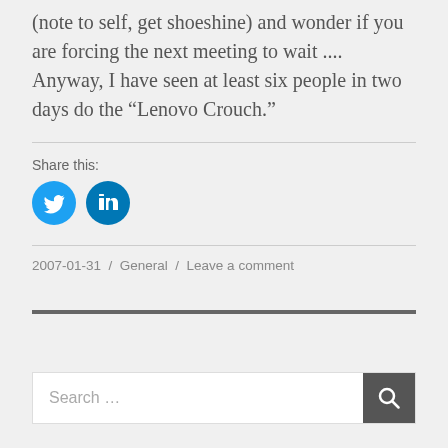(note to self, get shoeshine) and wonder if you are forcing the next meeting to wait .... Anyway, I have seen at least six people in two days do the “Lenovo Crouch.”
Share this:
[Figure (infographic): Two circular social media share buttons: Twitter (blue bird icon) and LinkedIn (blue 'in' icon)]
2007-01-31 / General / Leave a comment
Search ...